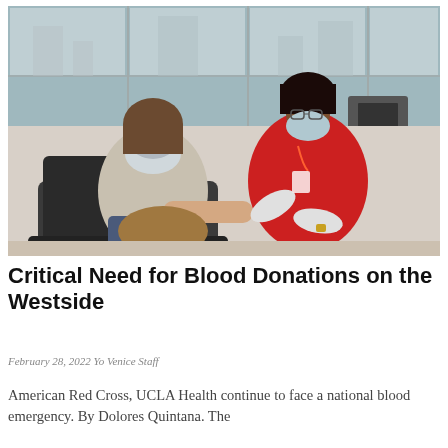[Figure (photo): A woman sitting in a donation chair wearing a face mask and grey cardigan has blood drawn, while a healthcare worker in a red shirt and gloves attends to her arm. Both are wearing blue surgical masks. A window with a city view is in the background.]
Critical Need for Blood Donations on the Westside
February 28, 2022 Yo Venice Staff
American Red Cross, UCLA Health continue to face a national blood emergency. By Dolores Quintana. The